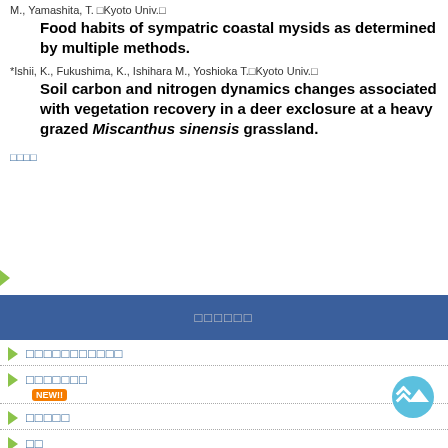M., Yamashita, T. □Kyoto Univ.□
Food habits of sympatric coastal mysids as determined by multiple methods.
*Ishii, K., Fukushima, K., Ishihara M., Yoshioka T.□Kyoto Univ.□
Soil carbon and nitrogen dynamics changes associated with vegetation recovery in a deer exclosure at a heavy grazed Miscanthus sinensis grassland.
□□□□
□□□□□□
□□□□□□□□□□□
□□□□□□□ NEW!!
□□□□□
□□
□□□□